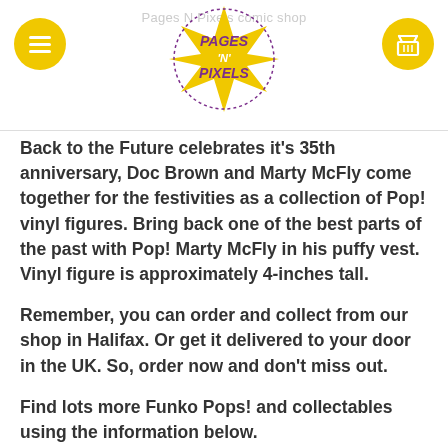Pages N Pixels comic shop
Back to the Future celebrates it's 35th anniversary, Doc Brown and Marty McFly come together for the festivities as a collection of Pop! vinyl figures. Bring back one of the best parts of the past with Pop! Marty McFly in his puffy vest. Vinyl figure is approximately 4-inches tall.
Remember, you can order and collect from our shop in Halifax. Or get it delivered to your door in the UK. So, order now and don't miss out.
Find lots more Funko Pops! and collectables using the information below.
CLICK ON THE OPTIONS BELOW TO FIND OUR MORE